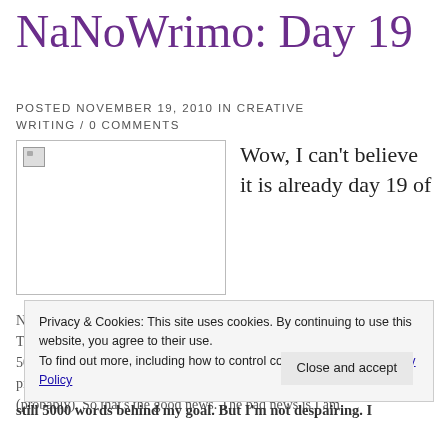NaNoWrimo: Day 19
POSTED NOVEMBER 19, 2010 IN CREATIVE WRITING / 0 COMMENTS
[Figure (photo): Broken image placeholder (image failed to load)]
Wow, I can't believe it is already day 19 of
NaNoWrimo. That's almost 20 days left, week! Today has been a pretty good day because I wrote over 5000 words, which is the most I've written for a fiction project in any one day since the beginning of my existence (probably). So that's the good news. The bad news is I am still 5000 words behind my goal. But I'm not despairing. I
Privacy & Cookies: This site uses cookies. By continuing to use this website, you agree to their use. To find out more, including how to control cookies, see here: Privacy Policy
Close and accept